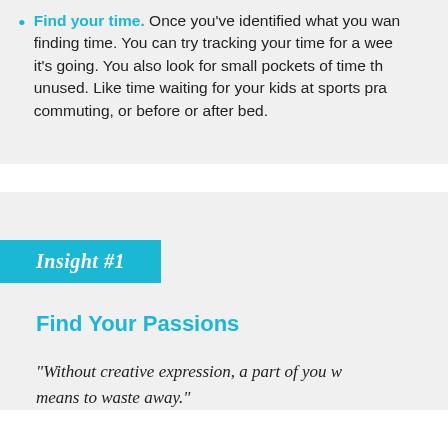Find your time. Once you've identified what you want to do, the next step is finding time. You can try tracking your time for a week to see how it's going. You also look for small pockets of time that often go unused. Like time waiting for your kids at sports practice, commuting, or before or after bed.
Insight #1
Find Your Passions
"Without creative expression, a part of you w... means to waste away."